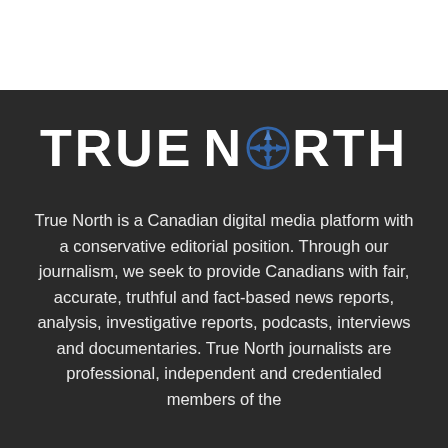[Figure (logo): True North logo with white bold text 'TRUE NORTH' and a blue crosshair/compass icon replacing the O in NORTH]
True North is a Canadian digital media platform with a conservative editorial position. Through our journalism, we seek to provide Canadians with fair, accurate, truthful and fact-based news reports, analysis, investigative reports, podcasts, interviews and documentaries. True North journalists are professional, independent and credentialed members of the